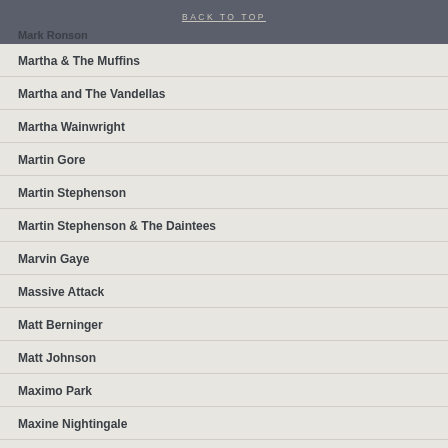BACK TO TOP
Mark Ronson
Martha & The Muffins
Martha and The Vandellas
Martha Wainwright
Martin Gore
Martin Stephenson
Martin Stephenson & The Daintees
Marvin Gaye
Massive Attack
Matt Berninger
Matt Johnson
Maximo Park
Maxine Nightingale